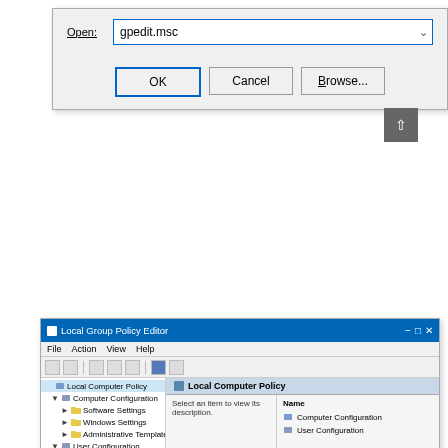[Figure (screenshot): Windows Run dialog with 'gpedit.msc' typed in the Open field, and OK, Cancel, Browse buttons]
[Figure (screenshot): Local Group Policy Editor window showing tree with Computer Configuration and User Configuration nodes, and right panel showing Name column with Computer Configuration and User Configuration items]